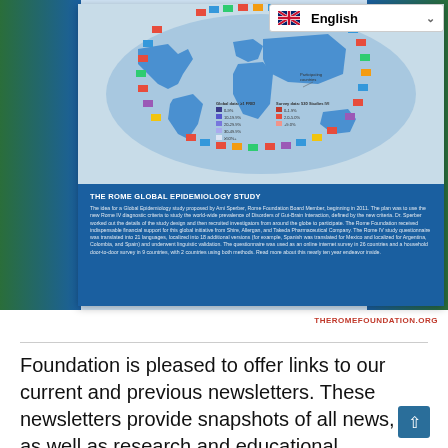[Figure (map): The Rome Global Epidemiology Study world map with colored country flags arranged in a ring around the globe, showing participating countries with legend for data categories (Global data: >1 FRID and Survey data: 530 Studies IVI)]
THE ROME GLOBAL EPIDEMIOLOGY STUDY
The idea for a Global Epidemiology study proposed by Ami Sperber, Rome Foundation Board Member, beginning in 2011. The plan was to use the new Rome IV diagnostic criteria to study the world-wide prevalence of Disorders of Gut-Brain Interaction, defined by the new criteria. Dr. Sperber worked out the details of the study design and then recruited investigators from around the globe to participate. The Rome Foundation received indispensable financial support for this global initiative from Shire, Allergan, and Takeda Pharmaceutical Company. The Rome IV study questionnaire was translated into 21 languages, localized into 18 additional versions (for example, Spanish was translated for Mexico and localized for Argentina, Colombia, and Spain) and underwent linguistic validation. The questionnaire was used as an online internet survey in 26 countries and a household door-to-door survey in 9 countries, with 2 countries using both methods. Read more about this nearly ten year endeavor inside.
THEROMEFOUNDATION.ORG
Foundation is pleased to offer links to our current and previous newsletters. These newsletters provide snapshots of all news, as well as research and educational